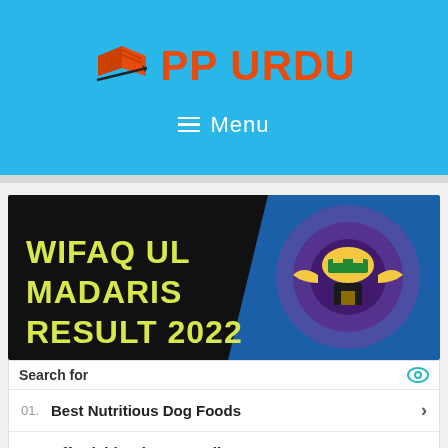[Figure (logo): PP URDU logo with orange book/arrow icon and orange text on blue background]
≡ Menu
[Figure (illustration): Wifaq Ul Madaris Result 2022 banner with black and blue background and circular emblem]
Search for
01. Best Nutritious Dog Foods
02. Affordable Glasses Online
Yahoo! Search | Sponsored